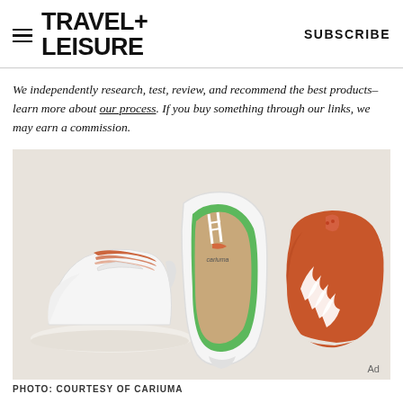TRAVEL+ LEISURE   SUBSCRIBE
We independently research, test, review, and recommend the best products–learn more about our process. If you buy something through our links, we may earn a commission.
[Figure (photo): Flat lay of three sneakers from Cariuma brand — a white sneaker from the side, a white sneaker from above showing green and cork insole, and an orange sneaker from the side — arranged on a light beige background.]
PHOTO: COURTESY OF CARIUMA